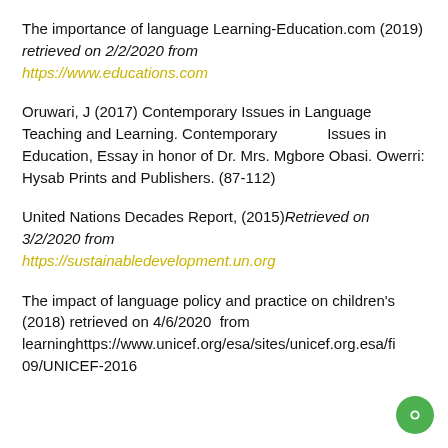The importance of language Learning-Education.com (2019) retrieved on 2/2/2020 from https://www.educations.com
Oruwari, J (2017) Contemporary Issues in Language Teaching and Learning. Contemporary         Issues in Education, Essay in honor of Dr. Mrs. Mgbore Obasi. Owerri: Hysab Prints and Publishers. (87-112)
United Nations Decades Report, (2015)Retrieved on 3/2/2020 from https://sustainabledevelopment.un.org
The impact of language policy and practice on children's (2018) retrieved on 4/6/2020  from learninghttps://www.unicef.org/esa/sites/unicef.org.esa/fi 09/UNICEF-2016